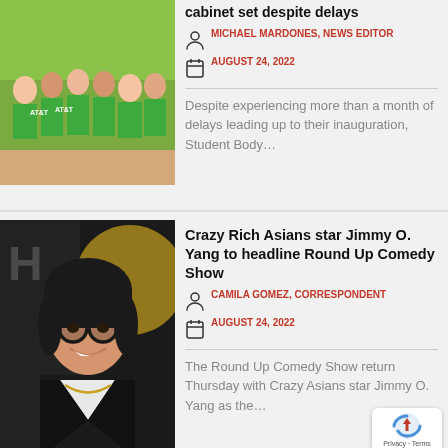[Figure (photo): Group photo of people wearing green AT&T volunteer shirts]
cabinet set despite delays
MICHAEL MARDONES, NEWS EDITOR
AUGUST 24, 2022
Despite experiencing more than a month of delays leading up to their inauguration, Student Body…
[Figure (photo): Portrait photo of Jimmy O. Yang wearing glasses and a black suit]
Crazy Rich Asians star Jimmy O. Yang to headline Round Up Comedy Show
CAMILA GOMEZ, CORRESPONDENT
AUGUST 24, 2022
The Round Up Comedy Show return Thursday with Crazy Asians star Jimmy O. Yang as the…